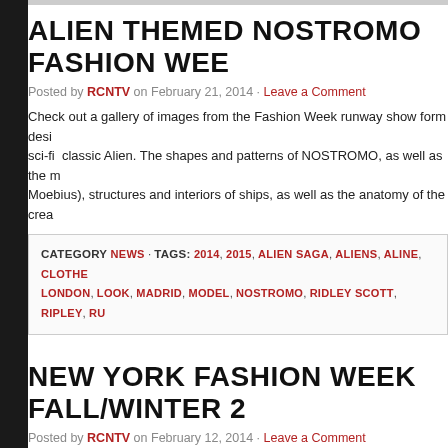ALIEN THEMED NOSTROMO FASHION WEEK
Posted by RCNTV on February 21, 2014 · Leave a Comment
Check out a gallery of images from the Fashion Week runway show form designer inspired by the sci-fi classic Alien. The shapes and patterns of NOSTROMO, as well as the m... Moebius), structures and interiors of ships, as well as the anatomy of the creat...
CATEGORY NEWS · TAGS: 2014, 2015, ALIEN SAGA, ALIENS, ALINE, CLOTHES, LONDON, LOOK, MADRID, MODEL, NOSTROMO, RIDLEY SCOTT, RIPLEY, RU...
NEW YORK FASHION WEEK FALL/WINTER 2
Posted by RCNTV on February 12, 2014 · Leave a Comment
Check out over 200 images form the runway at this year's New York Fashion W... showcase their Fall/Winter collections and set the fashion trends for the comin...
CATEGORY NEWS · TAGS: 2014, CLOTHES, FALL, FASHION, FASHION WEEK, PHOTOS, PICTURE, PICTURES, RED CARPET, RUNWAY, STYLE, TRENDS, TV...
WORLD WAR Z WORLD PREMIERE PHOTO...